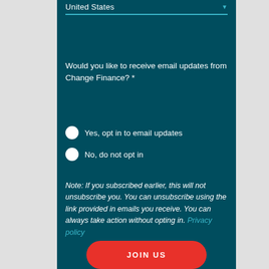United States
Would you like to receive email updates from Change Finance? *
Yes, opt in to email updates
No, do not opt in
Note: If you subscribed earlier, this will not unsubscribe you. You can unsubscribe using the link provided in emails you receive. You can always take action without opting in. Privacy policy